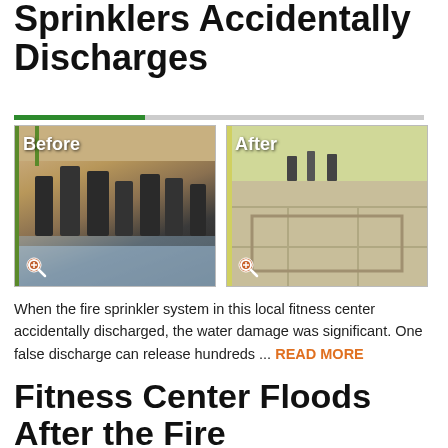Sprinklers Accidentally Discharges
[Figure (photo): Before and after photos of a fitness center flooded by accidental fire sprinkler discharge. Left image labeled 'Before' shows gym equipment on flooded floor with water visible. Right image labeled 'After' shows the same area cleaned and restored with no water damage.]
When the fire sprinkler system in this local fitness center accidentally discharged, the water damage was significant. One false discharge can release hundreds ... READ MORE
Fitness Center Floods After the Fire